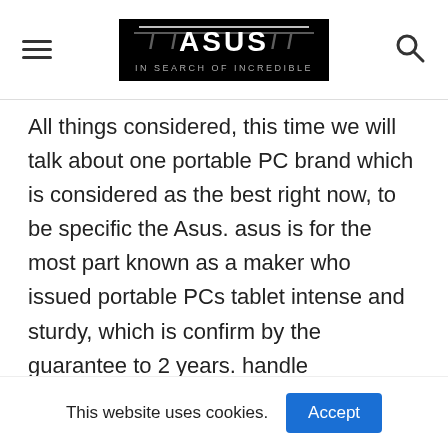ASUS — In Search of Incredible
All things considered, this time we will talk about one portable PC brand which is considered as the best right now, to be specific the Asus. asus is for the most part known as a maker who issued portable PCs tablet intense and sturdy, which is confirm by the guarantee to 2 years. handle dependable portable workstation for gaming action additionally appended to the asus. All things considered, before you settle on a decision will be to purchase a tablet/journal brand what? it offers
This website uses cookies.